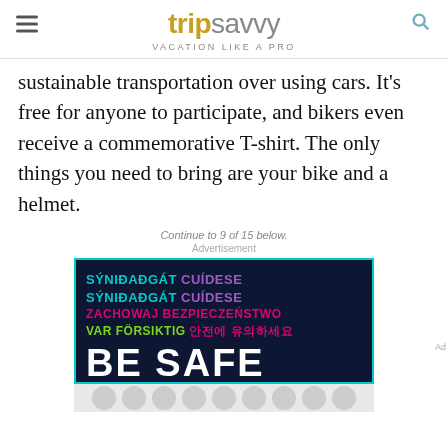tripsavvy VACATION LIKE A PRO
sustainable transportation over using cars. It's free for anyone to participate, and bikers even receive a commemorative T-shirt. The only things you need to bring are your bike and a helmet.
Continue to 9 of 15 below.
Advertisement
[Figure (other): Advertisement banner with multilingual 'BE SAFE' message on dark navy background with colorful text in multiple languages (Icelandic, Polish, Swedish, Korean) and large white 'BE SAFE' text.]